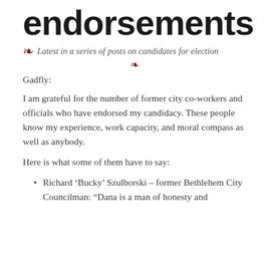endorsements
Latest in a series of posts on candidates for election
Gadfly:
I am grateful for the number of former city co-workers and officials who have endorsed my candidacy. These people know my experience, work capacity, and moral compass as well as anybody.
Here is what some of them have to say:
Richard ‘Bucky’ Szulborski – former Bethlehem City Councilman: “Dana is a man of honesty and